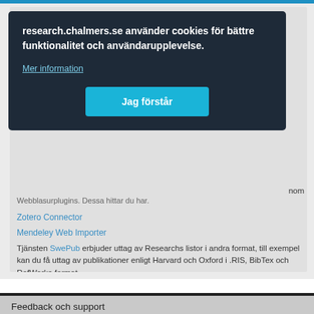research.chalmers.se använder cookies för bättre funktionalitet och användarupplevelse.
Mer information
Jag förstår
nom
Webblasarplugins. Dessa hittar du har.
Zotero Connector
Mendeley Web Importer
Tjänsten SwePub erbjuder uttag av Researchs listor i andra format, till exempel kan du få uttag av publikationer enligt Harvard och Oxford i .RIS, BibTex och RefWorks-format.
Feedback och support